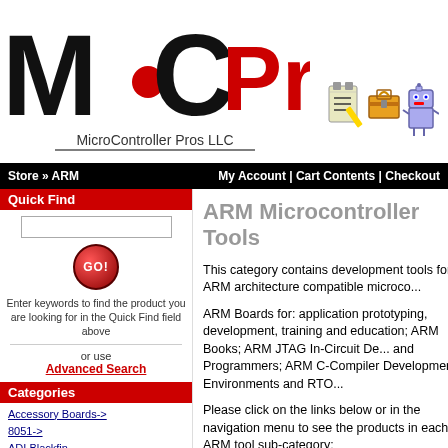[Figure (logo): MicroController Pros LLC logo with MC initials and 'Pros' in red]
[Figure (illustration): Small header icons: notepad, toolbox, robot]
Store » ARM   My Account | Cart Contents | Checkout
Quick Find
Enter keywords to find the product you are looking for in the Quick Find field above
or use Advanced Search
Categories
Accessory Boards->
8051->
ADI Blackfin
Arduino->
ARM->
Boards->
Books
JTAG Debuggers->
ARM Microcontroller Tools
This category contains development tools for ARM architecture compatible microco...
ARM Boards for: application prototyping, development, training and education; ARM Books; ARM JTAG In-Circuit De... and Programmers; ARM C-Compiler Development Environments and RTO...
Please click on the links below or in the navigation menu to see the products in each ARM tool sub-category: